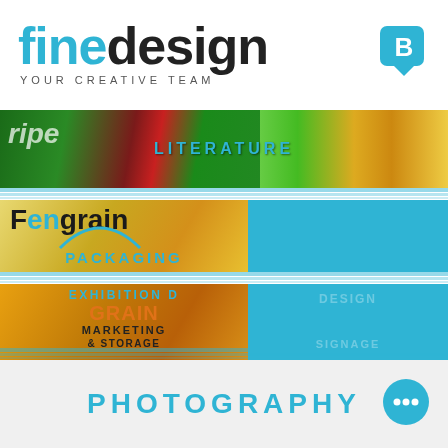[Figure (logo): finedesign YOUR CREATIVE TEAM logo with cyan 'fine' and black 'design' text, plus a blue speech bubble B icon top right]
[Figure (infographic): Grid of service category images and colored panels showing LITERATURE, PACKAGING, EXHIBITION DESIGN, MARKETING & STORAGE, LIVERY & SIGNAGE labels over food packaging and grain imagery with cyan blue panels]
PHOTOGRAPHY